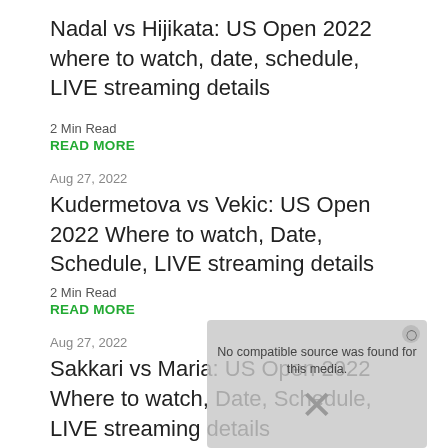Nadal vs Hijikata: US Open 2022 where to watch, date, schedule, LIVE streaming details
2 Min Read
READ MORE
Aug 27, 2022
Kudermetova vs Vekic: US Open 2022 Where to watch, Date, Schedule, LIVE streaming details
2 Min Read
READ MORE
Aug 27, 2022
Sakkari vs Maria: US Open 2022 Where to watch, Date, Schedule, LIVE streaming details
[Figure (screenshot): Video player overlay showing error message: No compatible source was found for this media, with an X button to close]